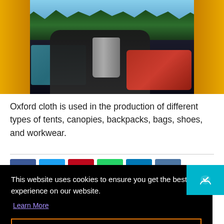[Figure (photo): Person lying inside a tent looking out at a forest and mountain view, with a teal inflatable sleeping pad, dark sleeping bag, silver thermos/cup, and red sleeping bag visible]
Oxford cloth is used in the production of different types of tents, canopies, backpacks, bags, shoes, and workwear.
This website uses cookies to ensure you get the best experience on our website.
Learn More
Got it!
Pavlo Lynx is an outdoor activity enthusiast, who